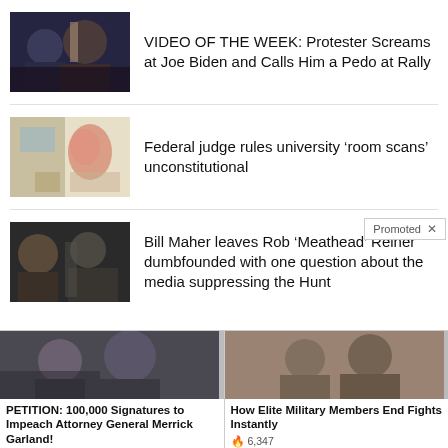[Figure (photo): Two men at an event, one in a suit]
VIDEO OF THE WEEK: Protester Screams at Joe Biden and Calls Him a Pedo at Rally
[Figure (photo): Person near flowers and decor]
Federal judge rules university ‘room scans’ unconstitutional
[Figure (photo): Two men in discussion]
Bill Maher leaves Rob ‘Meathead’ Reiner dumbfounded with one question about the media suppressing the Hunt
[Figure (photo): Two figures in formal suits, official setting]
PETITION: 100,000 Signatures to Impeach Attorney General Merrick Garland!
[Figure (photo): Two people fighting or training martial arts]
How Elite Military Members End Fights Instantly
6,347